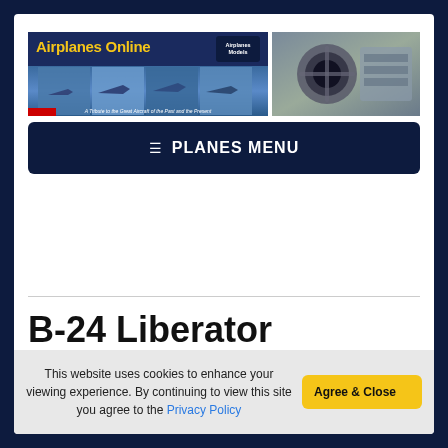[Figure (screenshot): Airplanes Online website header banner showing the site logo with yellow bold text 'Airplanes Online', a small logo box in top right, multiple airplane photos in a strip, and a right panel with close-up aircraft engine/fuselage photo]
☰ PLANES MENU
B-24 Liberator
"Pennzoil Pris..." (partial subtitle cut off)
This website uses cookies to enhance your viewing experience. By continuing to view this site you agree to the Privacy Policy
Agree & Close